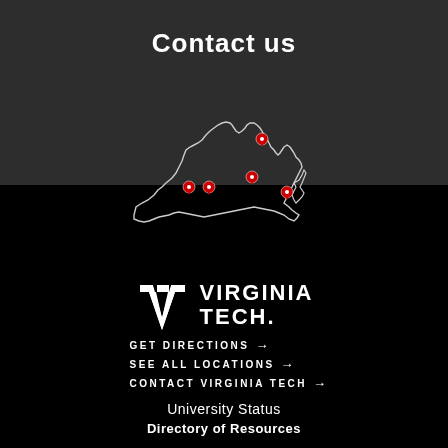Contact us
[Figure (map): Outline map of Virginia (black background, white border) with four red location pin markers placed at various points across the state]
[Figure (logo): Virginia Tech logo: VT monogram in white with the text VIRGINIA TECH. to the right in white bold uppercase letters]
GET DIRECTIONS →
SEE ALL LOCATIONS →
CONTACT VIRGINIA TECH →
University Status
Directory of Resources